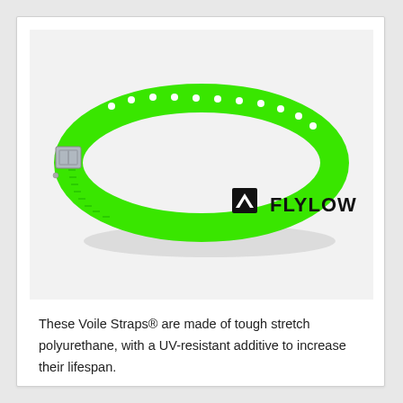[Figure (photo): A bright neon green Voile strap (Flylow branded) laid in an oval shape on a light grey background. The strap has evenly spaced holes along the top and serrations on the inner edge. A silver metal buckle is visible on the left side. The black Flylow logo and wordmark are printed on the lower right of the strap.]
These Voile Straps® are made of tough stretch polyurethane, with a UV-resistant additive to increase their lifespan.